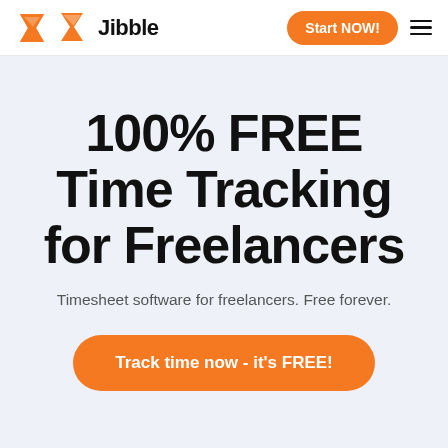Jibble — Start NOW!
100% FREE Time Tracking for Freelancers
Timesheet software for freelancers. Free forever.
Track time now - it's FREE!